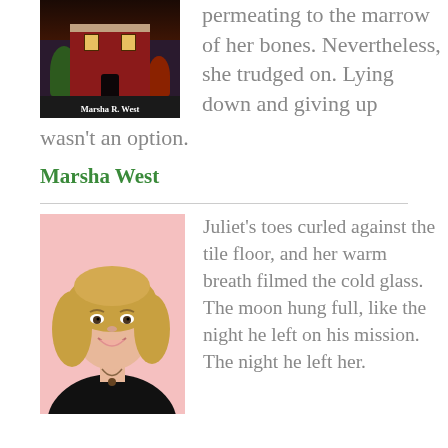[Figure (illustration): Book cover showing a Victorian building at night with trees, labeled 'Marsha R. West' at the bottom]
permeating to the marrow of her bones. Nevertheless, she trudged on. Lying down and giving up wasn't an option.
Marsha West
[Figure (photo): Portrait photo of a blonde woman smiling, wearing a black top, against a pink background]
Juliet’s toes curled against the tile floor, and her warm breath filmed the cold glass. The moon hung full, like the night he left on his mission. The night he left her.